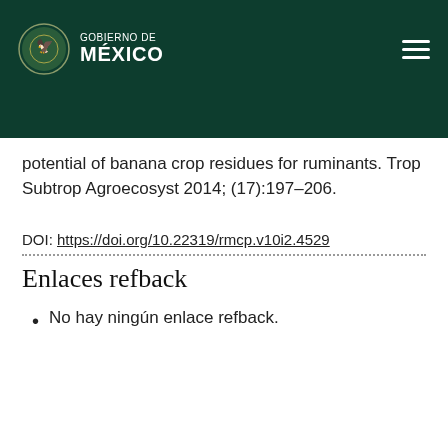GOBIERNO DE MÉXICO
potential of banana crop residues for ruminants. Trop Subtrop Agroecosyst 2014; (17):197–206.
DOI: https://doi.org/10.22319/rmcp.v10i2.4529
Enlaces refback
No hay ningún enlace refback.